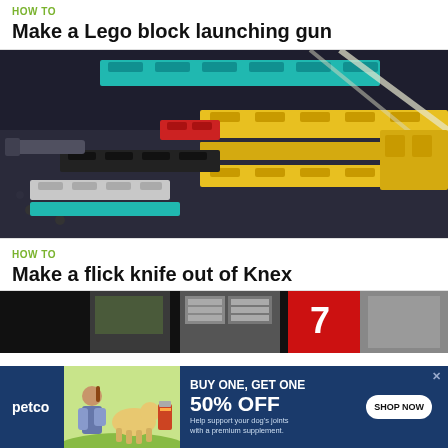HOW TO
Make a Lego block launching gun
[Figure (photo): Close-up photograph of colorful Lego bricks assembled into a gun-like structure, with yellow, green, black, red, white, and teal colored bricks visible against a dark background]
HOW TO
Make a flick knife out of Knex
[Figure (photo): Partial view of what appears to be a storefront or outdoor market scene with signage visible, cropped by an advertisement overlay]
[Figure (advertisement): Petco advertisement: BUY ONE, GET ONE 50% OFF. Help support your dog's joints with a premium supplement. SHOP NOW button. Shows woman with a golden retriever dog and supplement product.]